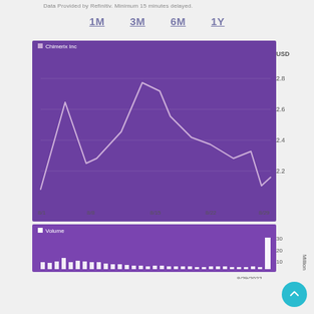Data Provided by Refinitiv. Minimum 15 minutes delayed.
1M   3M   6M   1Y
[Figure (line-chart): Stock price line chart for Chimerix Inc from 8/1 to 8/29/2022, price range ~2.1 to 2.8 USD, with volume bar chart below showing volume in millions, date 8/29/2022]